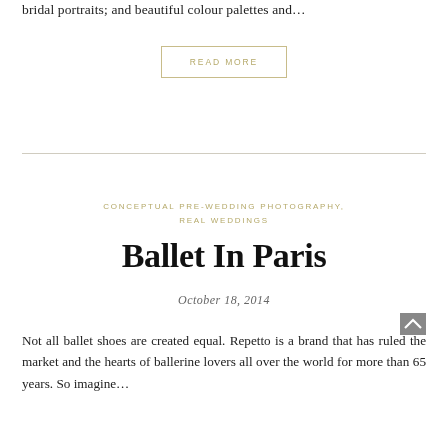bridal portraits; and beautiful colour palettes and…
READ MORE
CONCEPTUAL PRE-WEDDING PHOTOGRAPHY, REAL WEDDINGS
Ballet In Paris
October 18, 2014
Not all ballet shoes are created equal. Repetto is a brand that has ruled the market and the hearts of ballerine lovers all over the world for more than 65 years. So imagine…